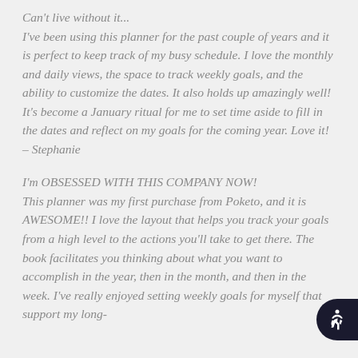Can't live without it... I've been using this planner for the past couple of years and it is perfect to keep track of my busy schedule. I love the monthly and daily views, the space to track weekly goals, and the ability to customize the dates. It also holds up amazingly well! It's become a January ritual for me to set time aside to fill in the dates and reflect on my goals for the coming year. Love it! – Stephanie
I'm OBSESSED WITH THIS COMPANY NOW! This planner was my first purchase from Poketo, and it is AWESOME!! I love the layout that helps you track your goals from a high level to the actions you'll take to get there. The book facilitates you thinking about what you want to accomplish in the year, then in the month, and then in the week. I've really enjoyed setting weekly goals for myself that support my long-